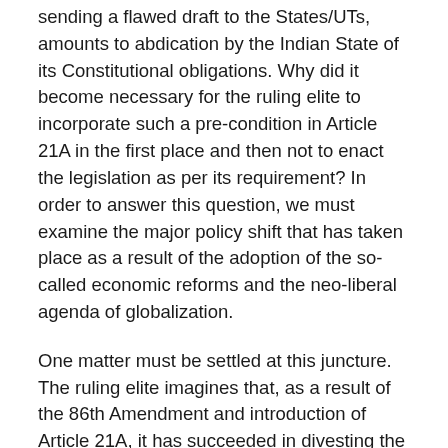sending a flawed draft to the States/UTs, amounts to abdication by the Indian State of its Constitutional obligations. Why did it become necessary for the ruling elite to incorporate such a pre-condition in Article 21A in the first place and then not to enact the legislation as per its requirement? In order to answer this question, we must examine the major policy shift that has taken place as a result of the adoption of the so-called economic reforms and the neo-liberal agenda of globalization.
One matter must be settled at this juncture. The ruling elite imagines that, as a result of the 86th Amendment and introduction of Article 21A, it has succeeded in divesting the children below six years of age of their Right to Education, including right to Early Childhood care and pre-primary education. However, the fact is that this amendment does not negate Supreme Court's